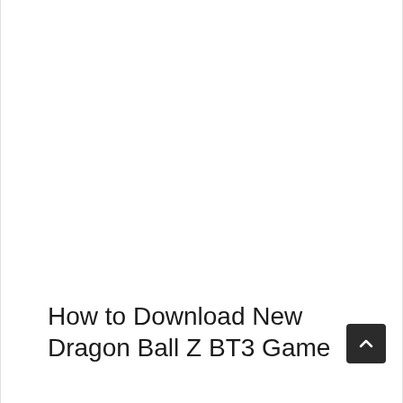How to Download New Dragon Ball Z BT3 Game